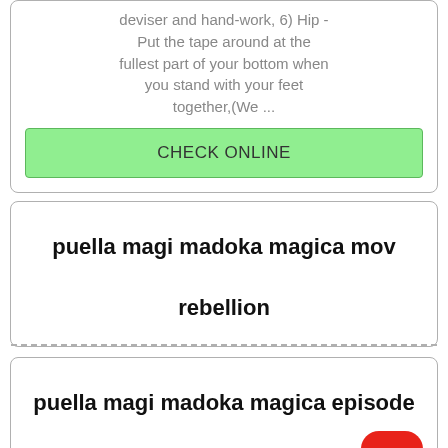deviser and hand-work, 6) Hip - Put the tape around at the fullest part of your bottom when you stand with your feet together,(We ...
CHECK ONLINE
puella magi madoka magica mov rebellion
puella magi madoka magica episode 4